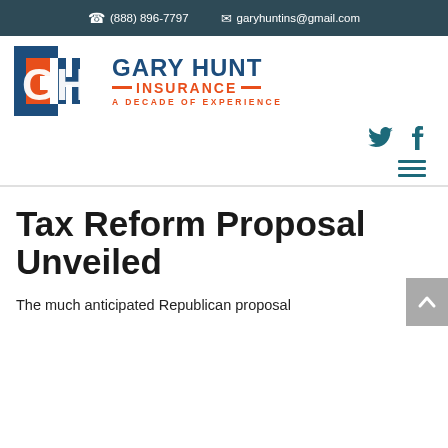(888) 896-7797  garyhuntins@gmail.com
[Figure (logo): Gary Hunt Insurance logo with GH monogram in blue and orange, text reading GARY HUNT INSURANCE - A DECADE OF EXPERIENCE]
[Figure (other): Social media icons: Twitter bird and Facebook f in teal, plus hamburger menu icon]
Tax Reform Proposal Unveiled
The much anticipated Republican proposal